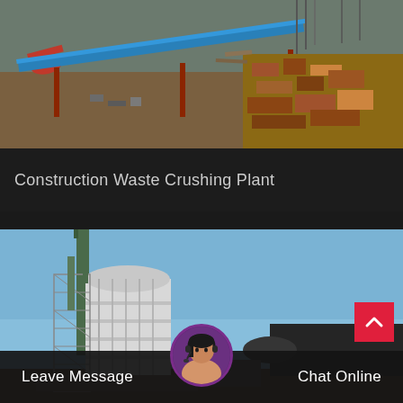[Figure (photo): Construction waste crushing plant site with conveyor belt machinery, red dust suppressor cannon on the left, and piles of demolition rubble including bricks and debris on the right]
Construction Waste Crushing Plant
[Figure (photo): Industrial plant showing a tall cylindrical silo/grain storage tower with scaffolding and metal structures against a clear blue sky, and a large cylindrical drum on the right side]
Leave Message
Chat Online